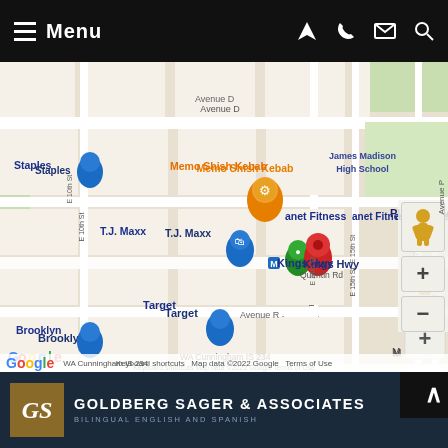Menu
[Figure (map): Google Maps screenshot showing Kings Highway area in Brooklyn, NY with nearby landmarks including Staples, T.J. Maxx, Target, Planet Fitness, Memo Shish Kebab, James Madison High School, WA Cunningham IS 234. Shows streets E 10th St, E 14th St, E 15th St, E 17th St, E 19th St, Avenue D, Avenue P, Avenue R, Quentin Rd, Ocean Ave. Map data ©2022 Google.]
[Figure (logo): Goldberg Sager & Associates law firm logo with GS monogram in gold square, firm name in white on dark blue background, bilingual English and Spanish tagline, live chat button]
GOLDBERG SAGER & ASSOCIATES
BILINGUAL ENGLISH AND SPANISH
LIVE CHAT  START NOW